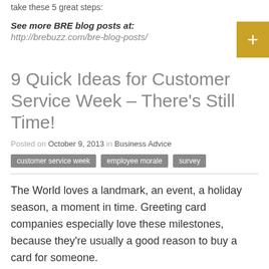take these 5 great steps:
See more BRE blog posts at:
http://brebuzz.com/bre-blog-posts/
9 Quick Ideas for Customer Service Week – There's Still Time!
Posted on October 9, 2013 in Business Advice
customer service week   employee morale   survey
The World loves a landmark, an event, a holiday season, a moment in time. Greeting card companies especially love these milestones, because they're usually a good reason to buy a card for someone.
Well this week is no different. In the